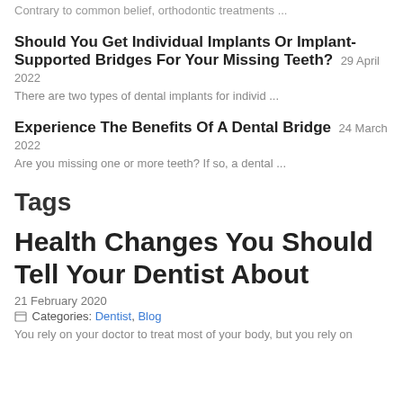Contrary to common belief, orthodontic treatments ...
Should You Get Individual Implants Or Implant-Supported Bridges For Your Missing Teeth? 29 April 2022
There are two types of dental implants for individ ...
Experience The Benefits Of A Dental Bridge 24 March 2022
Are you missing one or more teeth? If so, a dental ...
Tags
Health Changes You Should Tell Your Dentist About
21 February 2020
Categories: Dentist, Blog
You rely on your doctor to treat most of your body, but you rely on